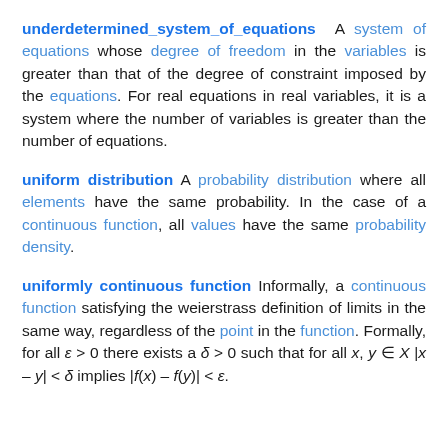underdetermined_system_of_equations  A system of equations whose degree of freedom in the variables is greater than that of the degree of constraint imposed by the equations. For real equations in real variables, it is a system where the number of variables is greater than the number of equations.
uniform distribution  A probability distribution where all elements have the same probability. In the case of a continuous function, all values have the same probability density.
uniformly continuous function  Informally, a continuous function satisfying the weierstrass definition of limits in the same way, regardless of the point in the function. Formally, for all ε > 0 there exists a δ > 0 such that for all x, y ∈ X |x – y| < δ implies |f(x) – f(y)| < ε.